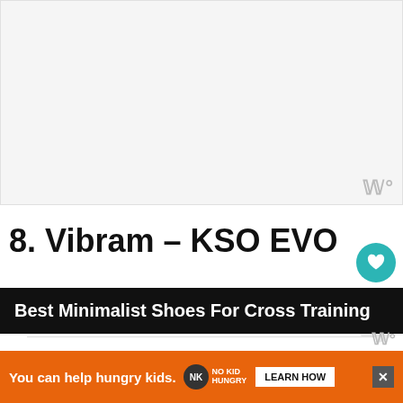[Figure (photo): Placeholder image area for Vibram KSO EVO product photo, light gray background]
8. Vibram – KSO EVO
Best Minimalist Shoes For Cross Training
[Figure (screenshot): Orange advertisement bar: 'You can help hungry kids.' with No Kid Hungry logo and LEARN HOW button]